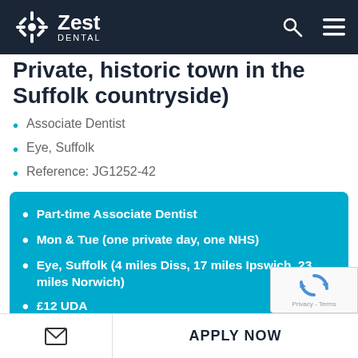Zest Dental
Private, historic town in the Suffolk countryside)
Associate Dentist
Eye, Suffolk
Reference: JG1252-42
Part-time Associate Dentist
Mon & Tue (one private day, one NHS)
Eye, Suffolk (4 miles Diss, 17 miles Ipswich, 23 miles Norwich)
£12 UDA
1000 UDA + Practice Plan
Excellent private opportunity in mixed pract…
APPLY NOW